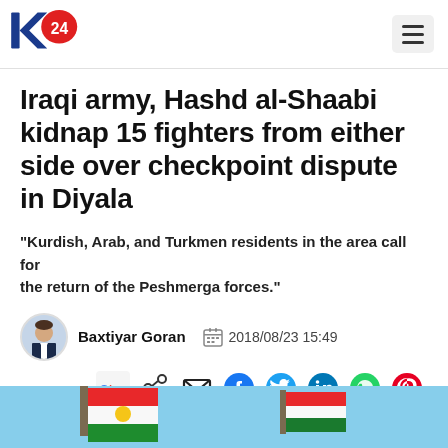K24 logo and navigation
Iraqi army, Hashd al-Shaabi kidnap 15 fighters from either side over checkpoint dispute in Diyala
"Kurdish, Arab, and Turkmen residents in the area call for the return of the Peshmerga forces."
Baxtiyar Goran  2018/08/23 15:49
[Figure (photo): Photo of flags at bottom of page]